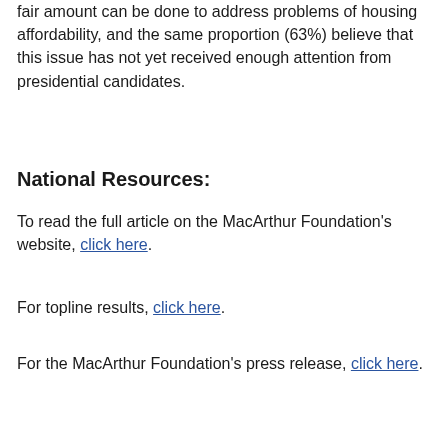fair amount can be done to address problems of housing affordability, and the same proportion (63%) believe that this issue has not yet received enough attention from presidential candidates.
National Resources:
To read the full article on the MacArthur Foundation's website, click here.
For topline results, click here.
For the MacArthur Foundation's press release, click here.